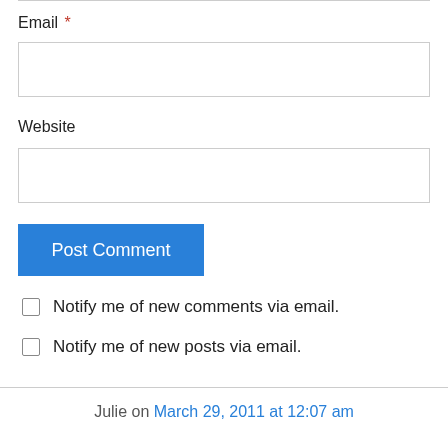Email *
Website
Post Comment
Notify me of new comments via email.
Notify me of new posts via email.
Julie on March 29, 2011 at 12:07 am